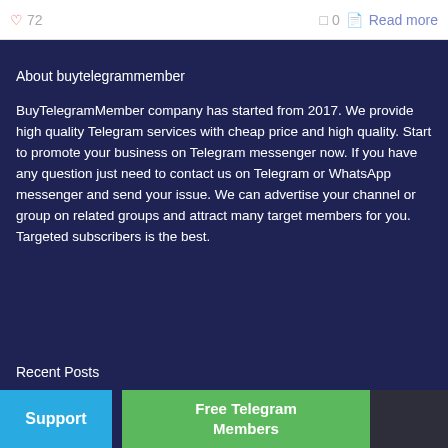72  0  Read more
About buytelegrammember
BuyTelegramMember company has started from 2017. We provide high quality Telegram services with cheap price and high quality. Start to promote your business on Telegram messenger now. If you have any question just need to contact us on Telegram or WhatsApp messenger and send your issue. We can advertise your channel or group on related groups and attract many target members for you. Targeted subscribers is the best.
Recent Posts
Support  Free Telegram Members